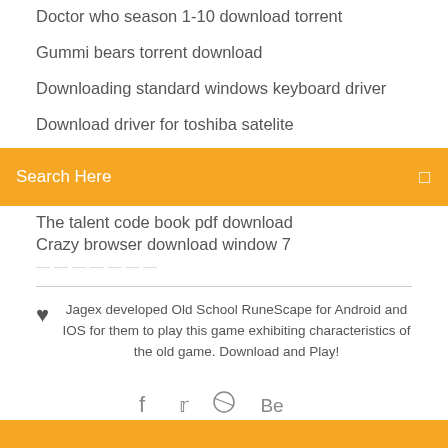Doctor who season 1-10 download torrent
Gummi bears torrent download
Downloading standard windows keyboard driver
Download driver for toshiba satelite
The talent code book pdf download
Crazy browser download window 7
Search Here
Jagex developed Old School RuneScape for Android and IOS for them to play this game exhibiting characteristics of the old game. Download and Play!
[Figure (infographic): Social media icons: Facebook (f), Twitter bird, Dribbble, Behance (Be)]